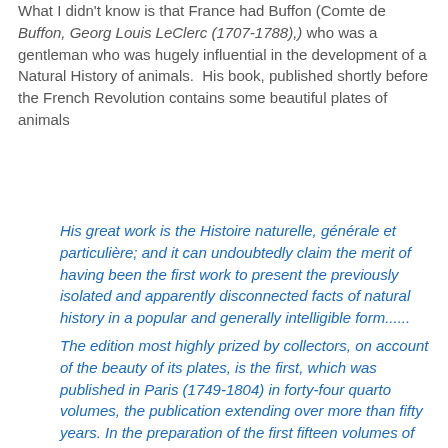What I didn't know is that France had Buffon (Comte de Buffon, Georg Louis LeClerc (1707-1788),) who was a gentleman who was hugely influential in the development of a Natural History of animals.  His book, published shortly before the French Revolution contains some beautiful plates of animals
His great work is the Histoire naturelle, générale et particulière; and it can undoubtedly claim the merit of having been the first work to present the previously isolated and apparently disconnected facts of natural history in a popular and generally intelligible form......
The edition most highly prized by collectors, on account of the beauty of its plates, is the first, which was published in Paris (1749-1804) in forty-four quarto volumes, the publication extending over more than fifty years. In the preparation of the first fifteen volumes of this edition (1749-1767) Buffon was assisted by Daubenton, and subsequently by P. Guéneau de Monthéliard, the abbé G.L.C.A. Rexon, and